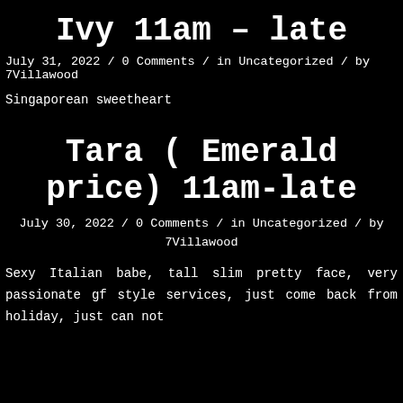Ivy 11am – late
July 31, 2022  / 0 Comments / in Uncategorized  / by 7Villawood
Singaporean sweetheart
Tara ( Emerald price) 11am-late
July 30, 2022  / 0 Comments / in Uncategorized  / by 7Villawood
Sexy Italian babe, tall slim pretty face, very passionate gf style services, just come back from holiday, just can not